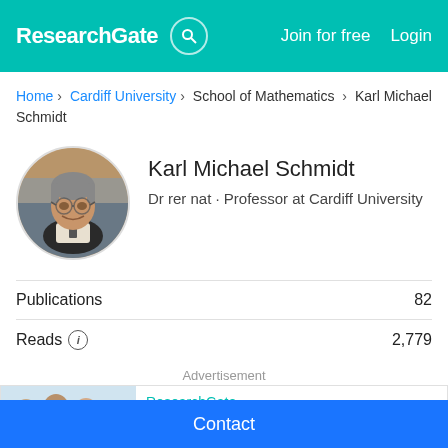ResearchGate | Join for free | Login
Home > Cardiff University > School of Mathematics > Karl Michael Schmidt
[Figure (photo): Circular profile photo of Karl Michael Schmidt, a middle-aged man with glasses and gray hair smiling]
Karl Michael Schmidt
Dr rer nat · Professor at Cardiff University
Publications 82
Reads ⓘ 2,779
Advertisement
[Figure (photo): Advertisement image showing group of researchers/engineers in lab coats]
ResearchGate
Searching for qualified engineers?
Contact